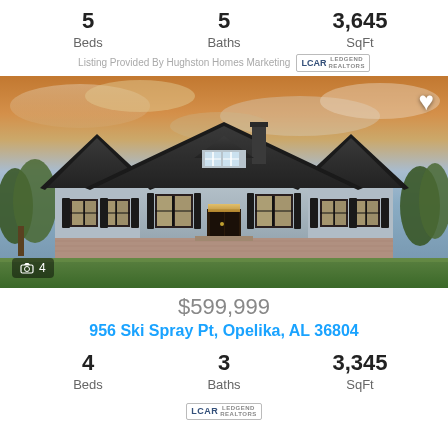5 Beds  5 Baths  3,645 SqFt
Listing Provided By Hughston Homes Marketing
[Figure (photo): Front exterior rendering of a large gray craftsman-style home with dark roof, multiple gables, black shutters, and a dormered upper window, set against a colorful sunset sky. Photo counter shows 4 images.]
$599,999
956 Ski Spray Pt, Opelika, AL 36804
4 Beds  3 Baths  3,345 SqFt